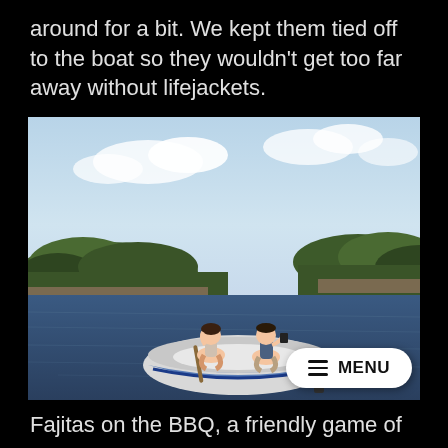around for a bit. We kept them tied off to the boat so they wouldn't get too far away without lifejackets.
[Figure (photo): Two children sitting in a small white and blue inflatable dinghy on a body of water with a tree-covered island in the background. A hamburger menu button with '≡ MENU' text is overlaid in the bottom right corner of the photo.]
Fajitas on the BBQ, a friendly game of